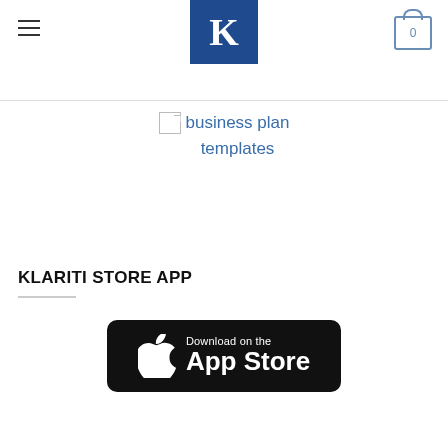[Figure (logo): Klariti logo: dark blue square with white K letter]
business plan templates
KLARITI STORE APP
[Figure (illustration): Download on the App Store button — black rounded rectangle with Apple logo and text 'Download on the App Store']